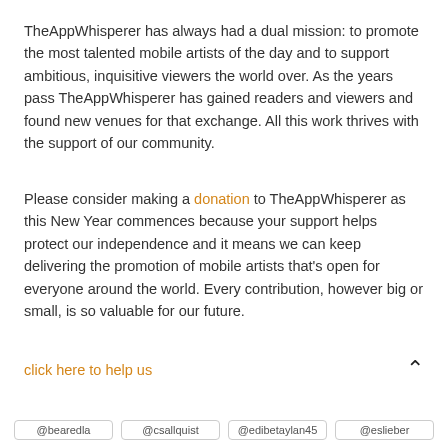TheAppWhisperer has always had a dual mission: to promote the most talented mobile artists of the day and to support ambitious, inquisitive viewers the world over. As the years pass TheAppWhisperer has gained readers and viewers and found new venues for that exchange. All this work thrives with the support of our community.
Please consider making a donation to TheAppWhisperer as this New Year commences because your support helps protect our independence and it means we can keep delivering the promotion of mobile artists that's open for everyone around the world. Every contribution, however big or small, is so valuable for our future.
click here to help us
[Figure (other): Blue Twitter Tweet button with bird icon]
@bearedla   @csallquist   @edibetaylan45   @eslieber